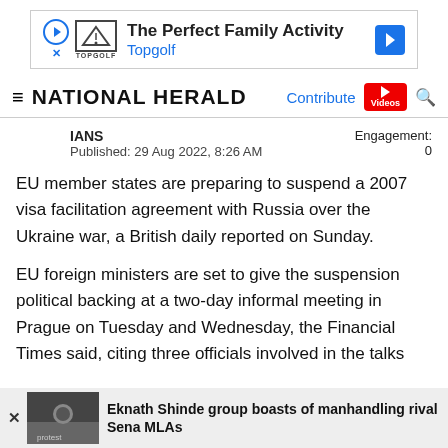[Figure (other): Advertisement banner for Topgolf: 'The Perfect Family Activity' with Topgolf logo and blue directional arrow icon]
NATIONAL HERALD — Contribute | Videos | Search
IANS
Published: 29 Aug 2022, 8:26 AM
Engagement: 0
EU member states are preparing to suspend a 2007 visa facilitation agreement with Russia over the Ukraine war, a British daily reported on Sunday.
EU foreign ministers are set to give the suspension political backing at a two-day informal meeting in Prague on Tuesday and Wednesday, the Financial Times said, citing three officials involved in the talks
Eknath Shinde group boasts of manhandling rival Sena MLAs